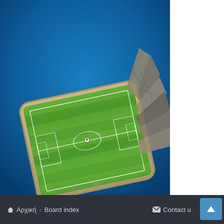[Figure (illustration): A smartphone lying flat at an angle on a blue gradient background. A 3D soccer/football field emerges from the screen of the phone, with the field appearing to rise up and out of the device. The field has green grass with white markings. The edges of the phone show a rocky/stone texture effect where the screen transitions to the field.]
Αρχική · Board index   Contact us